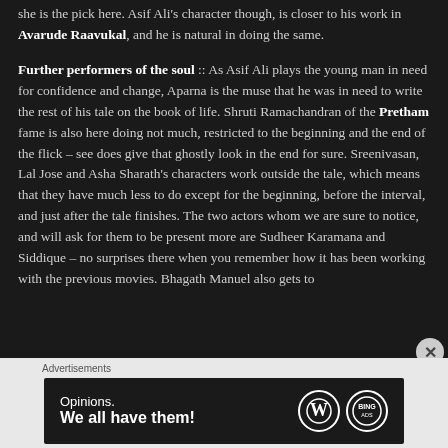she is the pick here. Asif Ali's character though, is closer to his work in Avarude Raavukal, and he is natural in doing the same.
Further performers of the soul :: As Asif Ali plays the young man in need for confidence and change, Aparna is the muse that he was in need to write the rest of his tale on the book of life. Shruti Ramachandran of the Pretham fame is also here doing not much, restricted to the beginning and the end of the flick – see does give that ghostly look in the end for sure. Sreenivasan, Lal Jose and Asha Sharath's characters work outside the tale, which means that they have much less to do except for the beginning, before the interval, and just after the tale finishes. The two actors whom we are sure to notice, and will ask for them to be present more are Sudheer Karamana and Siddique – no surprises there when you remember how it has been working with the previous movies. Bhagath Manuel also gets to
Advertisements
[Figure (infographic): Dark advertisement banner reading 'Opinions. We all have them!' with WordPress and Bing logos on the right.]